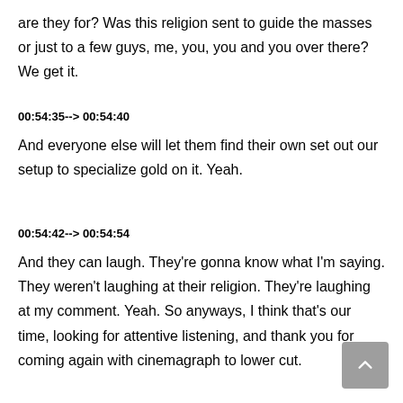are they for? Was this religion sent to guide the masses or just to a few guys, me, you, you and you over there? We get it.
00:54:35--> 00:54:40
And everyone else will let them find their own set out our setup to specialize gold on it. Yeah.
00:54:42--> 00:54:54
And they can laugh. They're gonna know what I'm saying. They weren't laughing at their religion. They're laughing at my comment. Yeah. So anyways, I think that's our time, looking for attentive listening, and thank you for coming again with cinemagraph to lower cut.